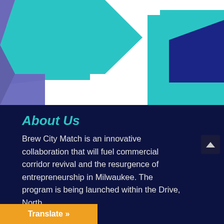[Figure (illustration): Decorative geometric hexagon shapes in teal, purple/indigo, and dark navy arranged as an abstract pattern on white background]
About Us
Brew City Match is an innovative collaboration that will fuel commercial corridor revival and the resurgence of entrepreneurship in Milwaukee. The program is being launched within the Drive, North